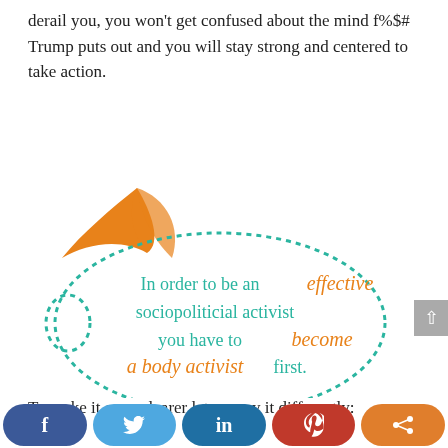derail you, you won't get confused about the mind f%$# Trump puts out and you will stay strong and centered to take action.
[Figure (infographic): Decorative speech bubble with dotted teal border and an orange bird/arrow icon. Text inside reads: 'In order to be an effective sociopoliticial activist you have to become a body activist first.' with alternating teal and orange handwritten-style font.]
To make it even clearer let me say it differently:
[Figure (infographic): Social sharing bar at bottom with Facebook (dark blue), Twitter (light blue), LinkedIn (dark blue), Pinterest (red), and share (orange) buttons.]